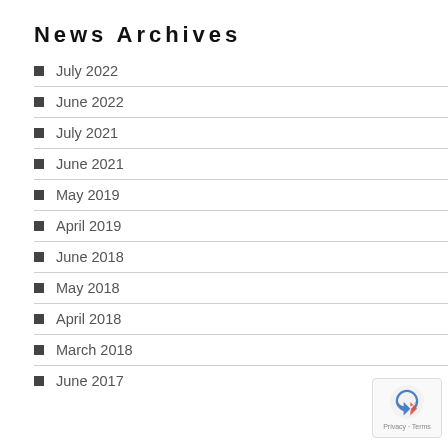News Archives
July 2022
June 2022
July 2021
June 2021
May 2019
April 2019
June 2018
May 2018
April 2018
March 2018
June 2017